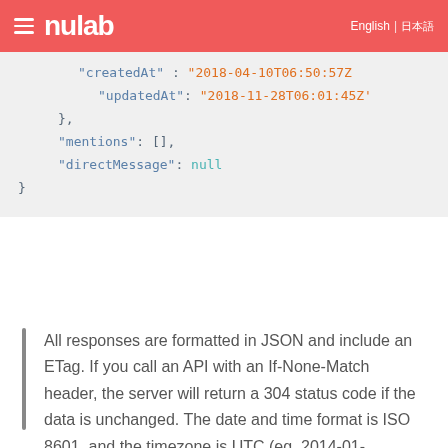nulab — English | 日本語
"createdAt" : "2018-04-10T06:50:57Z"
        "updatedAt": "2018-11-28T06:01:45Z'"
    },
    "mentions": [],
    "directMessage": null
}
All responses are formatted in JSON and include an ETag. If you call an API with an If-None-Match header, the server will return a 304 status code if the data is unchanged. The date and time format is ISO 8601, and the timezone is UTC (eg. 2014-01-09T06:20:08Z).